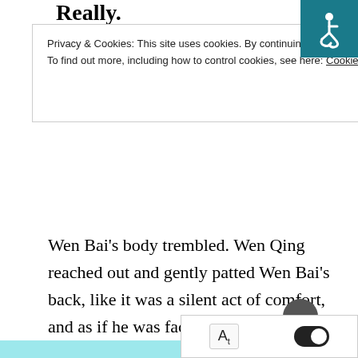Really.
Privacy & Cookies: This site uses cookies. By continuing to use this website you agree to their use.
To find out more, including how to control cookies, see here: Cookie Policy
[Close and accept]
Wen Bai's body trembled. Wen Qing reached out and gently patted Wen Bai's back, like it was a silent act of comfort, and as if he was facing Yan Han.
“Then I thought about you and I suddenly couldn’t bear the thought of leaving anymore.”
“Don’t leave.”
“I won’t leave. How could I?” Wen Qing’s slightly unfocused.